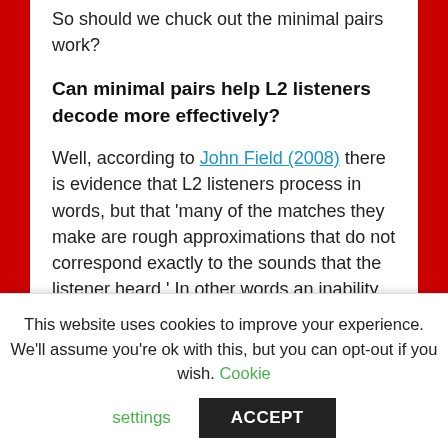So should we chuck out the minimal pairs work?
Can minimal pairs help L2 listeners decode more effectively?
Well, according to John Field (2008) there is evidence that L2 listeners process in words, but that 'many of the matches they make are rough approximations that do not correspond exactly to the sounds that the listener heard.' In other words an inability to recognise certain phonemes is leading to learners making inaccurate guesses about words, which in turn could lead them quite
This website uses cookies to improve your experience. We'll assume you're ok with this, but you can opt-out if you wish. Cookie settings ACCEPT